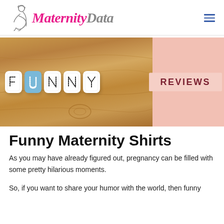MaternityData
[Figure (illustration): Hero image with wood-texture background showing letter tiles spelling FUNNY with a blue U, and a pink panel on the right with REVIEWS text]
Funny Maternity Shirts
As you may have already figured out, pregnancy can be filled with some pretty hilarious moments.
So, if you want to share your humor with the world, then funny